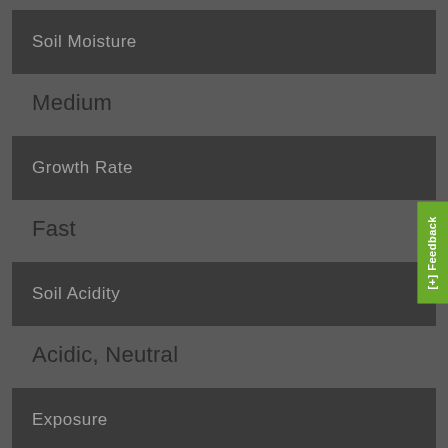Soil Moisture
Medium
Growth Rate
Fast
Soil Acidity
Acidic, Neutral
Exposure
Full